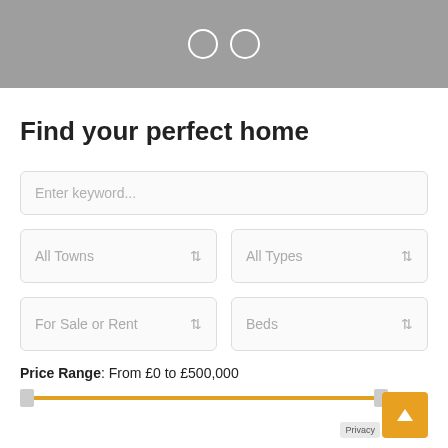[Figure (screenshot): Grey header banner with two circular outline icons (carousel indicators)]
Find your perfect home
Enter keyword...
All Towns
All Types
For Sale or Rent
Beds
Price Range: From £0 to £500,000